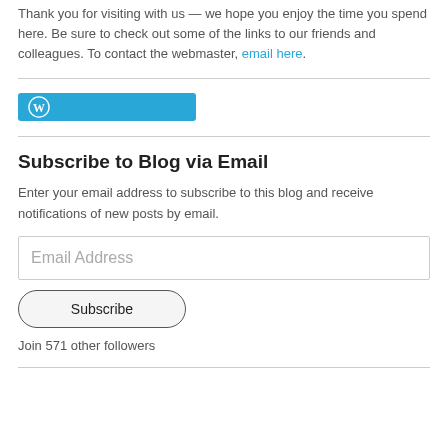Thank you for visiting with us — we hope you enjoy the time you spend here. Be sure to check out some of the links to our friends and colleagues. To contact the webmaster, email here.
[Figure (logo): WordPress logo button — light blue rounded rectangle with white WordPress 'W' circle icon on the left]
Subscribe to Blog via Email
Enter your email address to subscribe to this blog and receive notifications of new posts by email.
Email Address
Subscribe
Join 571 other followers